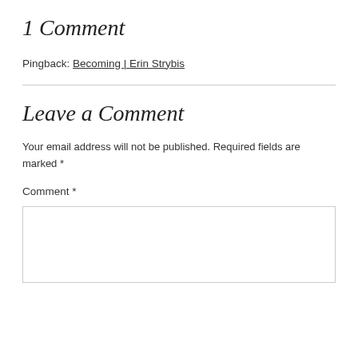1 Comment
Pingback: Becoming | Erin Strybis
Leave a Comment
Your email address will not be published. Required fields are marked *
Comment *